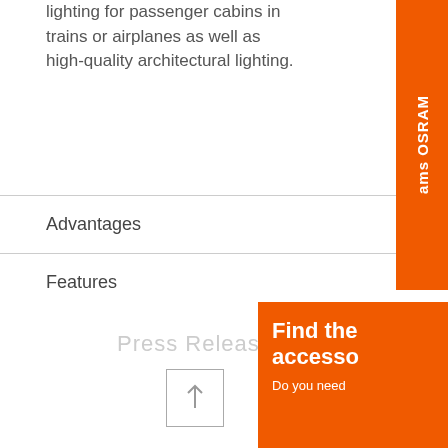lighting for passenger cabins in trains or airplanes as well as high-quality architectural lighting.
Advantages
Features
Applications
Products
[Figure (logo): ams OSRAM brand logo/sidebar tab in orange, rotated vertically on right side]
Press Release
[Figure (other): Upward arrow icon inside a square border box]
Find the accesso
Do you need